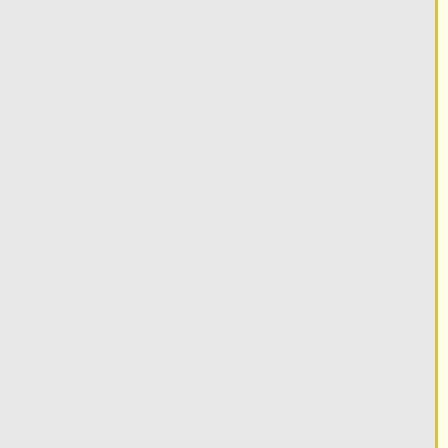mikrotik tools (like DD and Fdisk) will destroy your license! Be very careful and contact mikrotik support before doing this. It is not recommended, as mikrotik support might deny your
mikrotik tools (like DD and Fdisk) will destroy your license! Be very careful and contact mikrotik support before doing this. It is not recommended, as mikrotik support might deny your